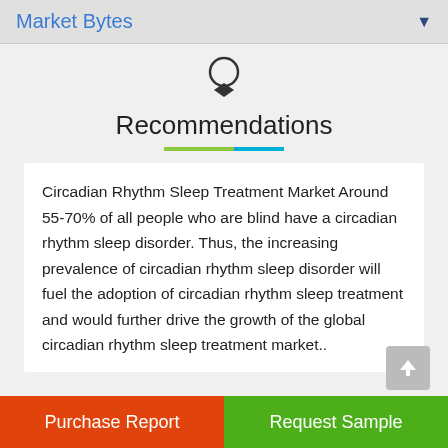Market Bytes
Recommendations
Circadian Rhythm Sleep Treatment Market Around 55-70% of all people who are blind have a circadian rhythm sleep disorder. Thus, the increasing prevalence of circadian rhythm sleep disorder will fuel the adoption of circadian rhythm sleep treatment and would further drive the growth of the global circadian rhythm sleep treatment market..
Purchase Report | Request Sample